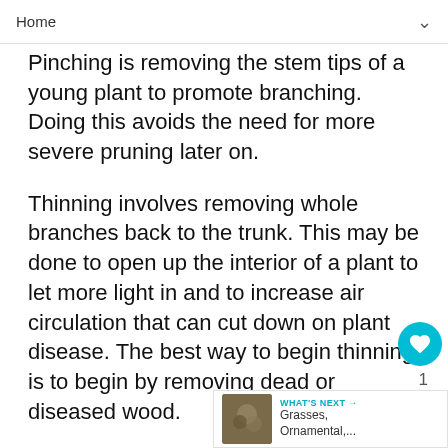Home
Pinching is removing the stem tips of a young plant to promote branching. Doing this avoids the need for more severe pruning later on.
Thinning involves removing whole branches back to the trunk. This may be done to open up the interior of a plant to let more light in and to increase air circulation that can cut down on plant disease. The best way to begin thinning is to begin by removing dead or diseased wood.
Shearing is leveling the surface of a shrub using hand or electric shears. This is done to maintain the desired shape of a hedge or topiary.